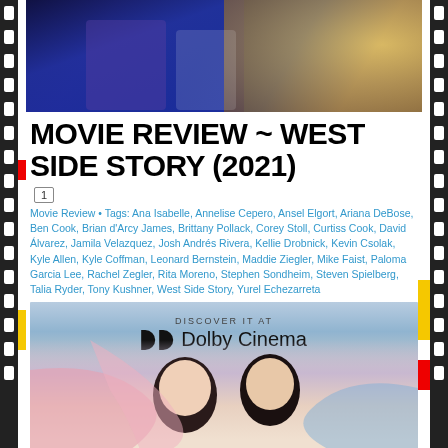[Figure (photo): Top banner image showing dancers/performers from West Side Story with blue and purple tones on the left and warm golden tones on the right]
MOVIE REVIEW ~ WEST SIDE STORY (2021)
1
Movie Review • Tags: Ana Isabelle, Annelise Cepero, Ansel Elgort, Ariana DeBose, Ben Cook, Brian d'Arcy James, Brittany Pollack, Corey Stoll, Curtiss Cook, David Álvarez, Jamila Velazquez, Josh Andrés Rivera, Kellie Drobnick, Kevin Csolak, Kyle Allen, Kyle Coffman, Leonard Bernstein, Maddie Ziegler, Mike Faist, Paloma Garcia Lee, Rachel Zegler, Rita Moreno, Stephen Sondheim, Steven Spielberg, Talia Ryder, Tony Kushner, West Side Story, Yurel Echezarreta
[Figure (photo): Dolby Cinema promotional image for West Side Story showing two people about to kiss, illustrated in painterly style with pink and blue ribbons]